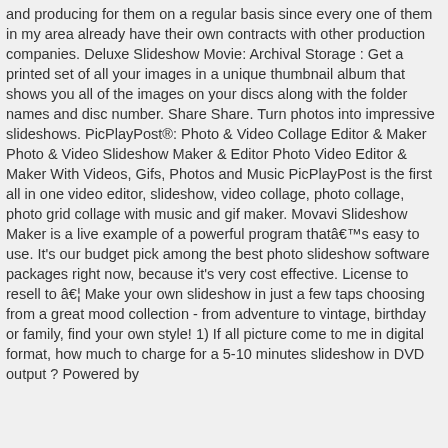and producing for them on a regular basis since every one of them in my area already have their own contracts with other production companies. Deluxe Slideshow Movie: Archival Storage : Get a printed set of all your images in a unique thumbnail album that shows you all of the images on your discs along with the folder names and disc number. Share Share. Turn photos into impressive slideshows. PicPlayPost®: Photo & Video Collage Editor & Maker Photo & Video Slideshow Maker & Editor Photo Video Editor & Maker With Videos, Gifs, Photos and Music PicPlayPost is the first all in one video editor, slideshow, video collage, photo collage, photo grid collage with music and gif maker. Movavi Slideshow Maker is a live example of a powerful program thatâ€™s easy to use. It's our budget pick among the best photo slideshow software packages right now, because it's very cost effective. License to resell to â€¦ Make your own slideshow in just a few taps choosing from a great mood collection - from adventure to vintage, birthday or family, find your own style! 1) If all picture come to me in digital format, how much to charge for a 5-10 minutes slideshow in DVD output ? Powered by